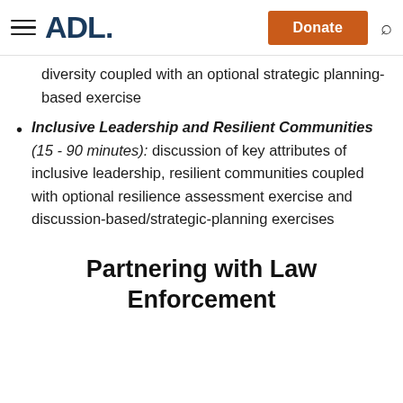ADL | Donate
diversity coupled with an optional strategic planning-based exercise
Inclusive Leadership and Resilient Communities (15 - 90 minutes): discussion of key attributes of inclusive leadership, resilient communities coupled with optional resilience assessment exercise and discussion-based/strategic-planning exercises
Partnering with Law Enforcement